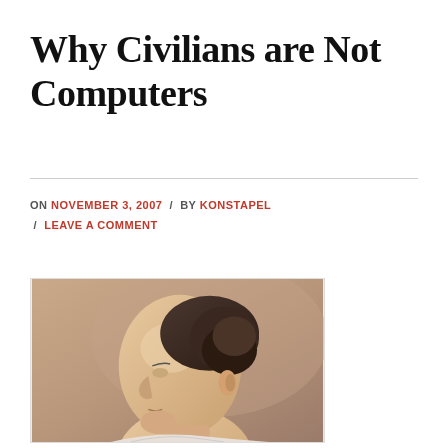Why Civilians are Not Computers
ON NOVEMBER 3, 2007 / BY KONSTAPEL / LEAVE A COMMENT
[Figure (photo): Portrait painting of an elderly man shown in side profile, wearing his hair up in a dark bun. The painting appears to be a classical portrait, possibly 18th century style, with warm tan and brownish background tones.]